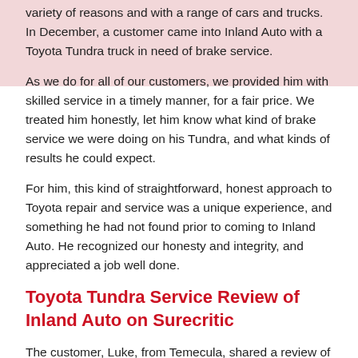variety of reasons and with a range of cars and trucks.  In December, a customer came into Inland Auto with a Toyota Tundra truck in need of brake service.
As we do for all of our customers, we provided him with skilled service in a timely manner, for a fair price.  We treated him honestly, let him know what kind of brake service we were doing on his Tundra, and what kinds of results he could expect.
For him, this kind of straightforward, honest approach to Toyota repair and service was a unique experience, and something he had not found prior to coming to Inland Auto.  He recognized our honesty and integrity, and appreciated a job well done.
Toyota Tundra Service Review of Inland Auto on Surecritic
The customer, Luke, from Temecula, shared a review of his Inland Auto brake service experience on Surecritic.com.
"[I] was very happy with the brake job done on my Tundra truck